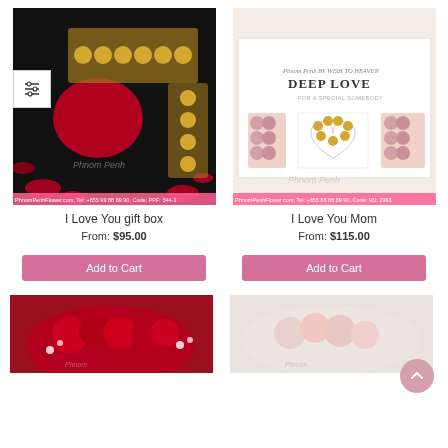[Figure (photo): I Love You gift box — red roses arranged in heart shape with Ferrero Rocher chocolates in a black box. Bottom text: PhnomPenhFlower.com, Tel: +855 99 88 89 90, Code: PPF-344]
I Love You gift box
From: $95.00
Add to Cart
[Figure (photo): I Love You Mom — pink roses arranged as letters I, heart with chocolates, U in a white Deep Love branded box. Bottom text: PhnomPenhFlower.com, Tel: +855 88 88 89 90, Code: VD-2963]
I Love You Mom
From: $115.00
Add to Cart
[Figure (photo): Partial image of red roses bouquet with white baby's breath]
[Figure (photo): Partial image of roses on marble background]